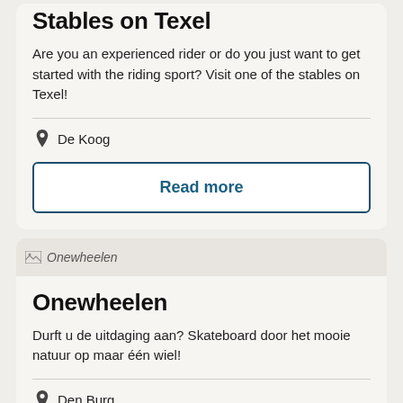Stables on Texel
Are you an experienced rider or do you just want to get started with the riding sport? Visit one of the stables on Texel!
De Koog
Read more
[Figure (photo): Broken image placeholder labeled Onewheelen]
Onewheelen
Durft u de uitdaging aan? Skateboard door het mooie natuur op maar één wiel!
Den Burg